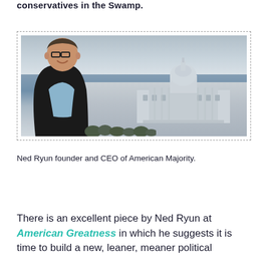conservatives in the Swamp.
[Figure (photo): Photo of Ned Ryun standing in front of the U.S. Capitol building, wearing dark jacket and light blue shirt, with cloudy sky behind.]
Ned Ryun founder and CEO of American Majority.
There is an excellent piece by Ned Ryun at American Greatness in which he suggests it is time to build a new, leaner, meaner political